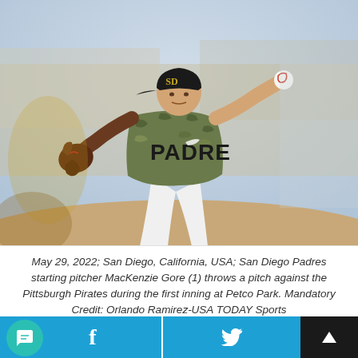[Figure (photo): San Diego Padres starting pitcher MacKenzie Gore (1) in a camouflage uniform throwing a pitch, photographed at Petco Park on May 29, 2022]
May 29, 2022; San Diego, California, USA; San Diego Padres starting pitcher MacKenzie Gore (1) throws a pitch against the Pittsburgh Pirates during the first inning at Petco Park. Mandatory Credit: Orlando Ramirez-USA TODAY Sports